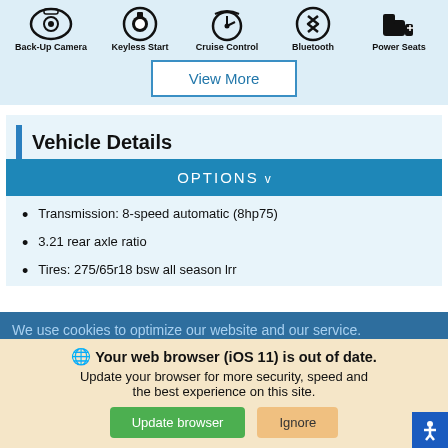[Figure (infographic): Row of car feature icons: Back-Up Camera, Keyless Start, Cruise Control, Bluetooth, Power Seats with circular/graphic icons above each label]
View More
Vehicle Details
OPTIONS v
Transmission: 8-speed automatic (8hp75)
3.21 rear axle ratio
Tires: 275/65r18 bsw all season lrr
We use cookies to optimize our website and our service.
Cookie Policy · Privacy Statement
Your web browser (iOS 11) is out of date. Update your browser for more security, speed and the best experience on this site.